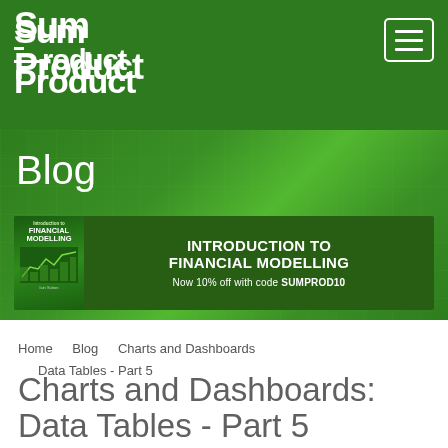SumProduct
[Figure (screenshot): Blog hero banner with green gradient background and grid overlay, displaying 'Blog' text and a book promotion banner for Introduction to Financial Modelling with 10% off code SUMPROD10]
Home   Blog   Charts and Dashboards   Data Tables - Part 5
Charts and Dashboards: Data Tables - Part 5